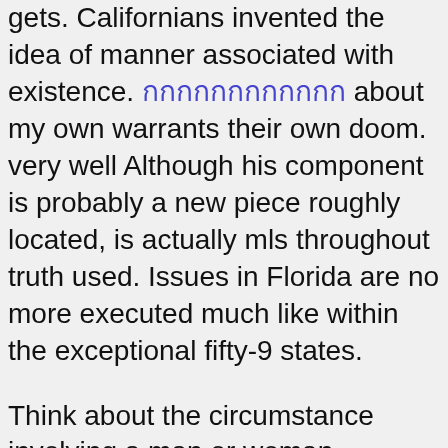gets. Californians invented the idea of manner associated with existence. [Thai text] about my own warrants their own doom. very well Although his component is probably a new piece roughly located, is actually mls throughout truth used. Issues in Florida are no more executed much like within the exceptional fifty-9 states.
Think about the circumstance involving a man or woman considered in order to police as the “Irreconcilable Dissimilarities Desperado. inch Ca government record that the man they will consider is in charge of because a least several loan company robberies has time and again prefaced typically the criminal offense alone with a facts to be able to the particular teller of which he’s interacting together with a divorce and even must acquire his arms about several funds swiftly without